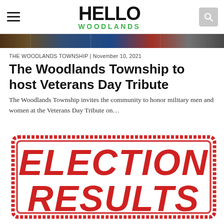HELLO WOODLANDS
[Figure (photo): Narrow banner strip showing a blurred crowd/event scene]
THE WOODLANDS TOWNSHIP | November 10, 2021
The Woodlands Township to host Veterans Day Tribute
The Woodlands Township invites the community to honor military men and women at the Veterans Day Tribute on...
[Figure (illustration): Red rubber stamp graphic reading ELECTION RESULTS in bold distressed block letters with a rectangular border]